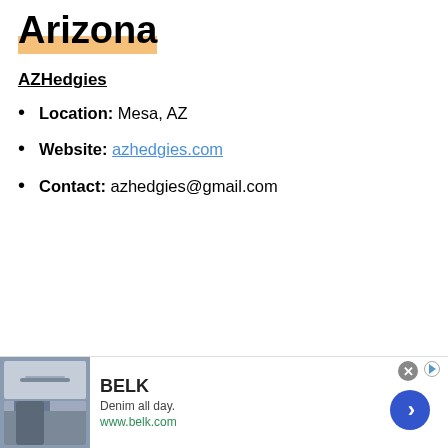Arizona
AZHedgies
Location: Mesa, AZ
Website: azhedgies.com
Contact: azhedgies@gmail.com
[Figure (other): Advertisement banner for BELK: 'Denim all day.' with website www.belk.com, featuring a close button, navigation arrow, and product imagery.]